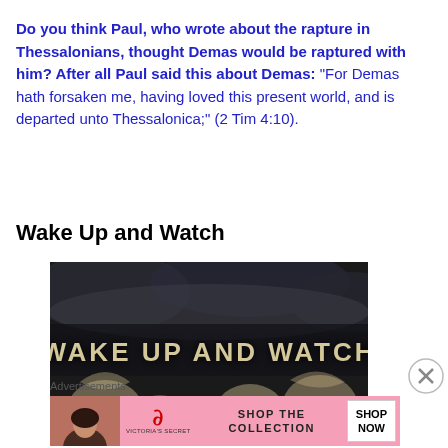Do you think Paul, who wrote about the rapture in Thessalonians, thought Demas would be raptured with him? After all Paul said this about Demas: “For Demas hath forsaken me, having loved this present world, and is departed unto Thessalonica;” (2 Tim 4:10).
Wake Up and Watch
[Figure (illustration): Dark dramatic illustration with angelic figures and the text 'WAKE UP AND WATCH' in stone-like lettering across the middle]
Advertisements
[Figure (screenshot): Victoria's Secret advertisement banner with pink background, model photo, VS logo, SHOP THE COLLECTION text, and SHOP NOW button]